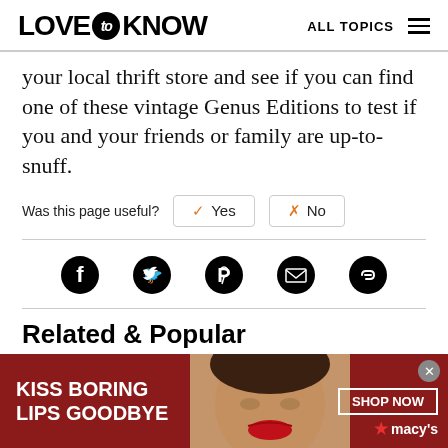LOVE to KNOW   ALL TOPICS
your local thrift store and see if you can find one of these vintage Genus Editions to test if you and your friends or family are up-to-snuff.
Was this page useful?  Yes  No
[Figure (infographic): Social share icons: Facebook, Twitter, Pinterest, Email, Link]
Related & Popular
[Figure (photo): Thumbnail image of Disney-themed cookies/balloon decorations]
Rules for Disney Trivia Board Game
By Colleen Vanderlinden
[Figure (photo): Advertisement banner: KISS BORING LIPS GOODBYE with woman's face and SHOP NOW / macys logo]